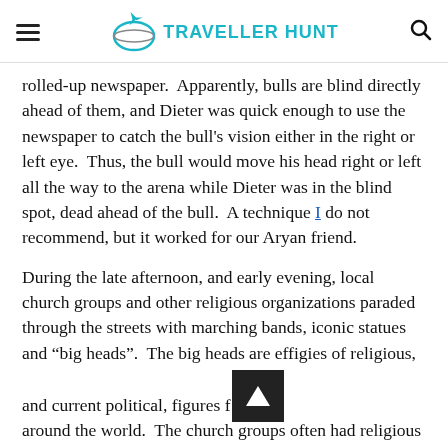TRAVELLER HUNT
rolled-up newspaper.  Apparently, bulls are blind directly ahead of them, and Dieter was quick enough to use the newspaper to catch the bull's vision either in the right or left eye.  Thus, the bull would move his head right or left all the way to the arena while Dieter was in the blind spot, dead ahead of the bull.  A technique I do not recommend, but it worked for our Aryan friend.
During the late afternoon, and early evening, local church groups and other religious organizations paraded through the streets with marching bands, iconic statues and “big heads”.  The big heads are effigies of religious, and current political, figures from around the world.  The church groups often had religious statues, or crucifixes, and were led by senior